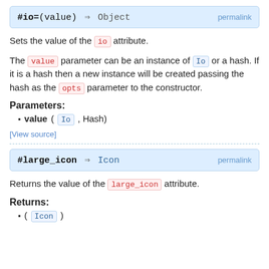#io=(value) ⇒ Object  permalink
Sets the value of the io attribute.
The value parameter can be an instance of Io or a hash. If it is a hash then a new instance will be created passing the hash as the opts parameter to the constructor.
Parameters:
value (Io, Hash)
[View source]
#large_icon ⇒ Icon  permalink
Returns the value of the large_icon attribute.
Returns:
(Icon)